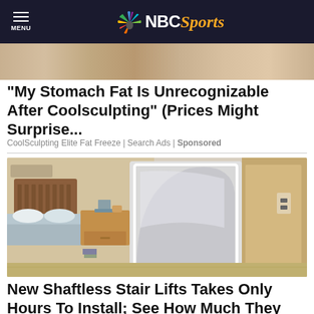NBC Sports
[Figure (photo): Partial top image strip, cropped photo showing skin/body detail]
"My Stomach Fat Is Unrecognizable After Coolsculpting" (Prices Might Surprise...
CoolSculpting Elite Fat Freeze | Search Ads | Sponsored
[Figure (photo): Interior room photo showing a bedroom with wooden bed and nightstand on the left, and a white shaftless stair lift unit in the center-right]
New Shaftless Stair Lifts Takes Only Hours To Install; See How Much They Cost